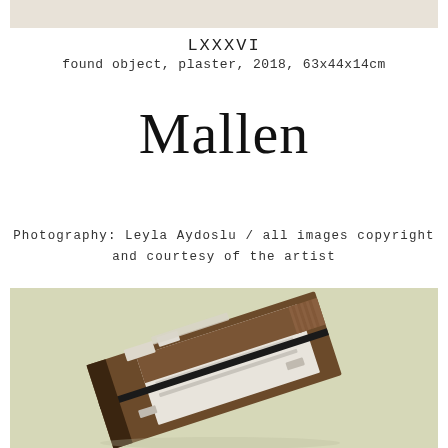[Figure (photo): Top portion of a sculpture image, light beige/cream background, cropped at top of page]
LXXXVI
found object, plaster, 2018, 63x44x14cm
Mallen
Photography: Leyla Aydoslu / all images copyright and courtesy of the artist
[Figure (photo): Photograph of a sculptural found object with plaster, showing a boxy form tilted at an angle, with brown and white surfaces, black straps or bands, set against a pale yellowish-green background. Photography by Leyla Aydoslu.]